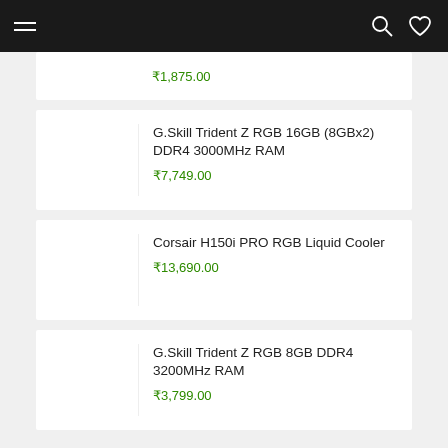Navigation header with hamburger menu, search icon, and wishlist icon
₹1,875.00
G.Skill Trident Z RGB 16GB (8GBx2) DDR4 3000MHz RAM
₹7,749.00
Corsair H150i PRO RGB Liquid Cooler
₹13,690.00
G.Skill Trident Z RGB 8GB DDR4 3200MHz RAM
₹3,799.00